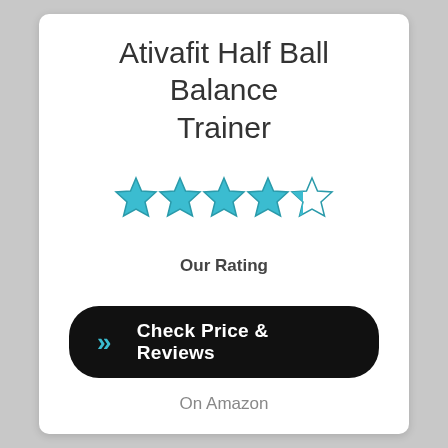Ativafit Half Ball Balance Trainer
[Figure (illustration): Five-star rating display showing 4 full teal/blue stars and 1 half-filled teal/blue star on white background]
Our Rating
[Figure (illustration): Black rounded rectangle button with blue double-chevron icon and white bold text: Check Price & Reviews]
On Amazon